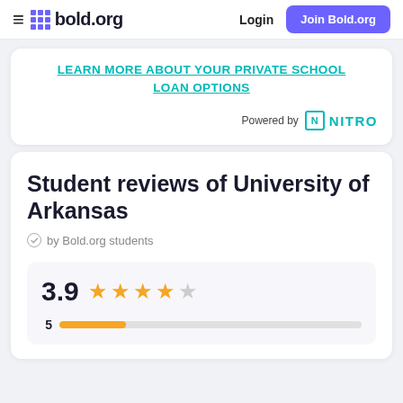bold.org — Login | Join Bold.org
LEARN MORE ABOUT YOUR PRIVATE SCHOOL LOAN OPTIONS
Powered by NITRO
Student reviews of University of Arkansas
by Bold.org students
3.9 (4 filled stars out of 5)
5 [bar indicator]